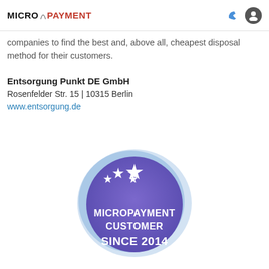MICRO PAYMENT (logo)
in the last ten years. Disposal.de uses a tested and reliable network of more than 500 service providers and disposal companies to find the best and, above all, cheapest disposal method for their customers.
Entsorgung Punkt DE GmbH
Rosenfelder Str. 15 | 10315 Berlin
www.entsorgung.de
[Figure (logo): Micropayment Customer Since 2014 badge — a circular badge with blue/purple gradient, five stars, and text reading MICROPAYMENT CUSTOMER SINCE 2014]